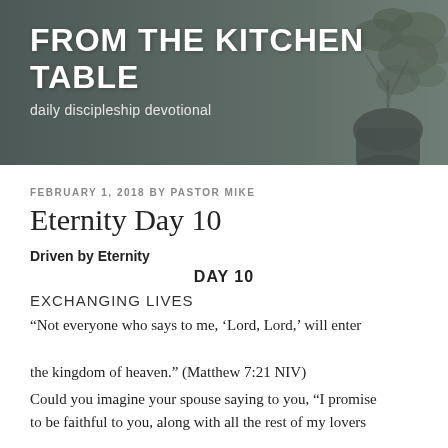[Figure (photo): Header photo of kitchen table with plants and a dark pot, dark overlay on left. White bold text 'FROM THE KITCHEN TABLE' and subtitle 'daily discipleship devotional' overlaid on the left side.]
FROM THE KITCHEN TABLE
daily discipleship devotional
FEBRUARY 1, 2018 BY PASTOR MIKE
Eternity Day 10
Driven by Eternity
DAY 10
EXCHANGING LIVES
“Not everyone who says to me, ‘Lord, Lord,’ will enter the kingdom of heaven.” (Matthew 7:21 NIV)
Could you imagine your spouse saying to you, “I promise to be faithful to you, along with all the rest of my lovers